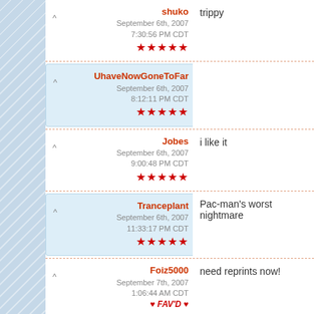shuko
September 6th, 2007
7:30:56 PM CDT
★★★★★
trippy
^UhaveNowGoneToFar
September 6th, 2007
8:12:11 PM CDT
★★★★★
Jobes
September 6th, 2007
9:00:48 PM CDT
★★★★★
i like it
Tranceplant
September 6th, 2007
11:33:17 PM CDT
★★★★★
Pac-man's worst nightmare
Foiz5000
September 7th, 2007
1:06:44 AM CDT
♥ FAV'D ♥
need reprints now!